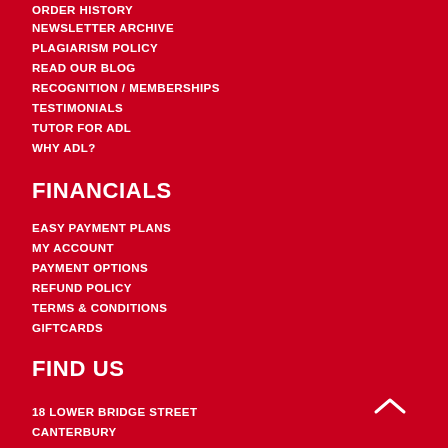ORDER HISTORY
NEWSLETTER ARCHIVE
PLAGIARISM POLICY
READ OUR BLOG
RECOGNITION / MEMBERSHIPS
TESTIMONIALS
TUTOR FOR ADL
WHY ADL?
FINANCIALS
EASY PAYMENT PLANS
MY ACCOUNT
PAYMENT OPTIONS
REFUND POLICY
TERMS & CONDITIONS
GIFTCARDS
FIND US
18 LOWER BRIDGE STREET
CANTERBURY